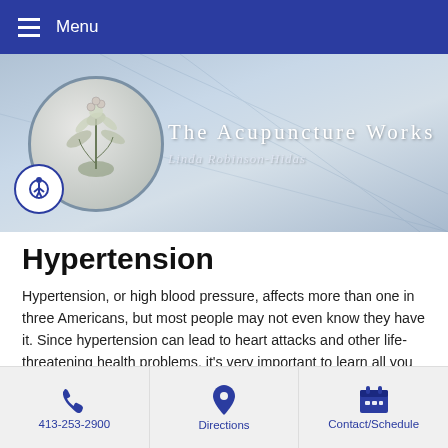Menu
[Figure (logo): The Acupuncture Works banner with floral logo circle and text 'The Acupuncture Works – Linda Robinson-Hidas']
Hypertension
Hypertension, or high blood pressure, affects more than one in three Americans, but most people may not even know they have it. Since hypertension can lead to heart attacks and other life-threatening health problems, it's very important to learn all you can and take action to lower your risk.
Acupuncture and Traditional Chinese Medicine (TCM) offer a safe
413-253-2900 | Directions | Contact/Schedule